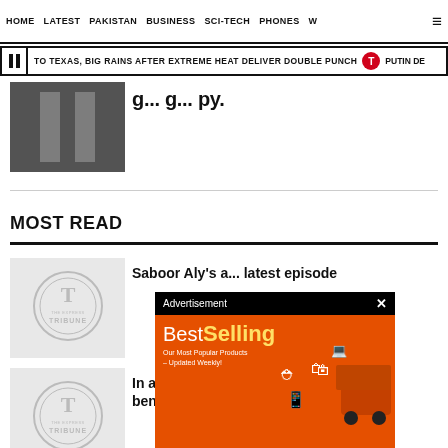HOME   LATEST   PAKISTAN   BUSINESS   SCI-TECH   PHONES   W
TO TEXAS, BIG RAINS AFTER EXTREME HEAT DELIVER DOUBLE PUNCH   PUTIN DE
[Figure (photo): Grayscale news article thumbnail image]
Saboor Aly's a... latest episode
MOST READ
[Figure (logo): Tribune placeholder logo thumbnail for Saboor Aly article]
Saboor Aly's a... latest episode
[Figure (logo): Tribune placeholder logo thumbnail for Justi bench article]
In a first, Justi bench
[Figure (infographic): Advertisement overlay: BestSelling - Our Most Popular Products Updated Weekly - AliExpress Shop Now]